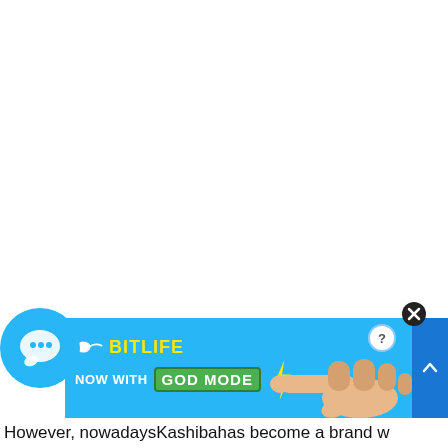[Figure (screenshot): White empty area occupying the upper portion of the page, representing blank web page content.]
[Figure (infographic): BitLife advertisement banner with blue background showing a sperm icon, 'BitLife' yellow logo text, 'NOW WITH GOD MODE' text with green box, lightning bolt graphic, a pointing hand illustration, a question mark circle button, and a close (X) button. A chat bubble icon appears to the left overlapping the banner.]
However, nowadaysKashibahas become a brand w